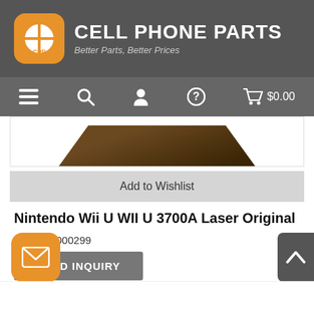CELL PHONE PARTS — Better Parts, Better Prices
[Figure (logo): Cell Phone Parts (CPP) logo: orange rounded square with white crosshair/plus icon and CPP text, next to white bold text 'CELL PHONE PARTS' and italic subtitle 'Better Parts, Better Prices' on dark gray background]
[Figure (screenshot): Navigation bar with hamburger menu, search, user, help/question mark icons and shopping cart with $0.00 on dark gray background]
[Figure (photo): Partial product image showing bottom portion of a dark brown electronic component (laser module) on white background]
Add to Wishlist
Nintendo Wii U WII U 3700A Laser Original
SKU : 09000299
SEND INQUIRY
[Figure (illustration): Orange rounded square button with white envelope/mail icon (email FAB button)]
[Figure (illustration): Dark gray back-to-top button with white upward chevron arrow]